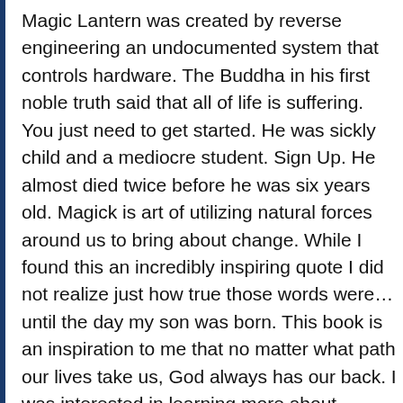Magic Lantern was created by reverse engineering an undocumented system that controls hardware. The Buddha in his first noble truth said that all of life is suffering. You just need to get started. He was sickly child and a mediocre student. Sign Up. He almost died twice before he was six years old. Magick is art of utilizing natural forces around us to bring about change. While I found this an incredibly inspiring quote I did not realize just how true those words were…until the day my son was born. This book is an inspiration to me that no matter what path our lives take us, God always has our back. I was interested in learning more about psychology, but not the theoretical part of psychology, I wanted those that I could apply to my life, like for example how I learned (from a book) how a member of the opposite sex shows their attraction, and how I can make them attracted to me. Individuals who engage in magical practices are referred to as either magicians or… Now make a list (you